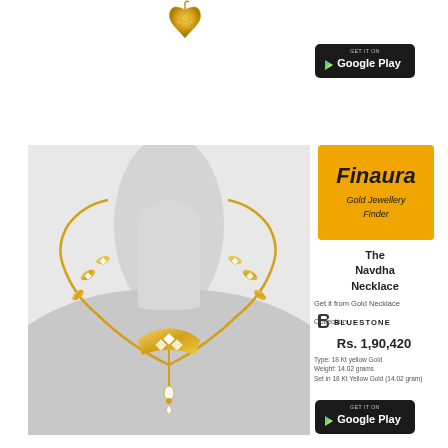[Figure (photo): Gold jewelry pendant/earring icon at top center of page]
[Figure (logo): Google Play button at top right]
[Figure (photo): The Navdha Necklace - gold necklace with diamond accents displayed on mannequin neck]
[Figure (logo): Finaura Gold Jewellery Finder brand logo in orange box]
The Navdha Necklace
Get it from Gold Necklace Collection
[Figure (logo): Bluestone retailer logo]
Rs. 1,90,420
Type: 18 Kt yellow Gold
Weight: 14.02 grams
Set in 18 Kt Yellow Gold (14.02 gram)
[Figure (logo): Google Play button at bottom right]